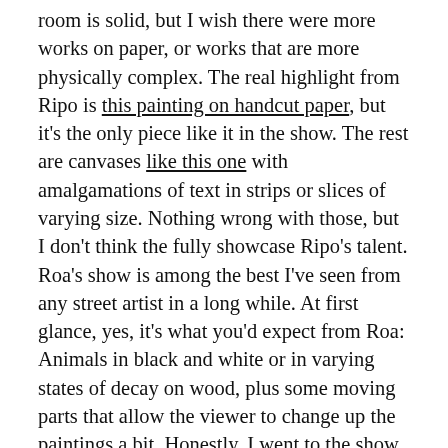room is solid, but I wish there were more works on paper, or works that are more physically complex. The real highlight from Ripo is this painting on handcut paper, but it's the only piece like it in the show. The rest are canvases like this one with amalgamations of text in strips or slices of varying size. Nothing wrong with those, but I don't think the fully showcase Ripo's talent. Roa's show is among the best I've seen from any street artist in a long while. At first glance, yes, it's what you'd expect from Roa: Animals in black and white or in varying states of decay on wood, plus some moving parts that allow the viewer to change up the paintings a bit. Honestly, I went to the show to see Ripo's work and see friends, not expecting to be too amazed with Roa's work. It's good and all, but I figured that I'd seen it 100 times before. I was wrong. Graffoto's review and images (and Stolenspace's images) provide some idea of what Roa did, but really you just have to walk through the show. I